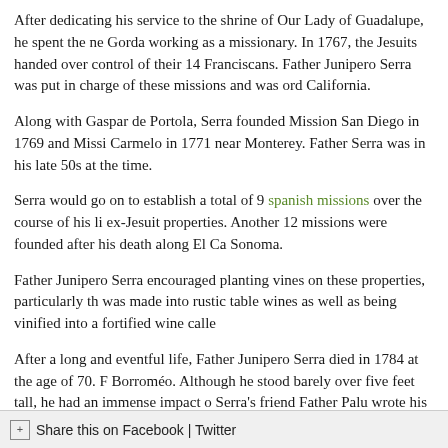After dedicating his service to the shrine of Our Lady of Guadalupe, he spent the ne Gorda working as a missionary. In 1767, the Jesuits handed over control of their 14 Franciscans. Father Junipero Serra was put in charge of these missions and was ord California.
Along with Gaspar de Portola, Serra founded Mission San Diego in 1769 and Miss Carmelo in 1771 near Monterey. Father Serra was in his late 50s at the time.
Serra would go on to establish a total of 9 spanish missions over the course of his li ex-Jesuit properties. Another 12 missions were founded after his death along El Ca Sonoma.
Father Junipero Serra encouraged planting vines on these properties, particularly th was made into rustic table wines as well as being vinified into a fortified wine calle
After a long and eventful life, Father Junipero Serra died in 1784 at the age of 70. Borroméo. Although he stood barely over five feet tall, he had an immense impact o Serra's friend Father Palu wrote his biography.
BE THE FIRST TO COMMENT ON FATHER JUNIPERO SERRA
You must login to comment.
Share this on Facebook | Twitter